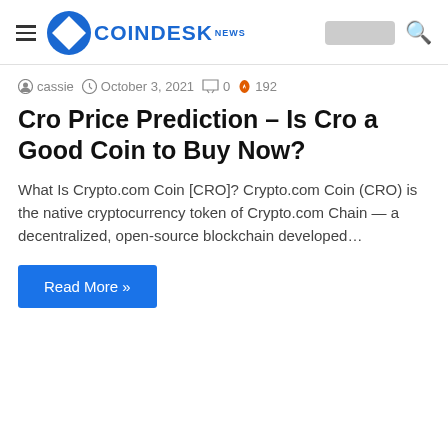CoinDesk News
cassie  October 3, 2021  0  192
Cro Price Prediction – Is Cro a Good Coin to Buy Now?
What Is Crypto.com Coin [CRO]? Crypto.com Coin (CRO) is the native cryptocurrency token of Crypto.com Chain — a decentralized, open-source blockchain developed…
Read More »